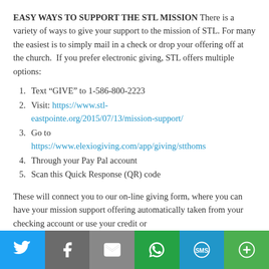EASY WAYS TO SUPPORT THE STL MISSION There is a variety of ways to give your support to the mission of STL. For many the easiest is to simply mail in a check or drop your offering off at the church. If you prefer electronic giving, STL offers multiple options:
1. Text "GIVE" to 1-586-800-2223
2. Visit: https://www.stl-eastpointe.org/2015/07/13/mission-support/
3. Go to https://www.elexiogiving.com/app/giving/stthoms
4. Through your Pay Pal account
5. Scan this Quick Response (QR) code
These will connect you to our on-line giving form, where you can have your mission support offering automatically taken from your checking account or use your credit or debit card (STL is charged a fee for debit/credit cards).
Social share bar: Twitter, Facebook, Email, WhatsApp, SMS, More